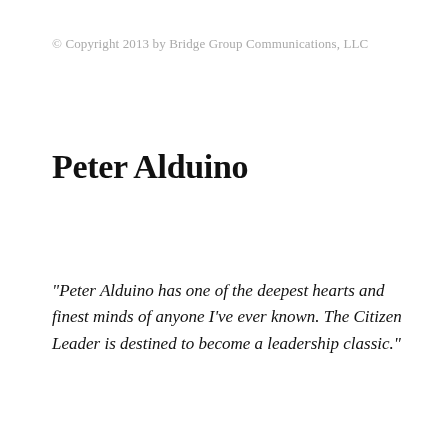© Copyright 2013 by Bridge Group Communications, LLC
Peter Alduino
"Peter Alduino has one of the deepest hearts and finest minds of anyone I've ever known. The Citizen Leader is destined to become a leadership classic."